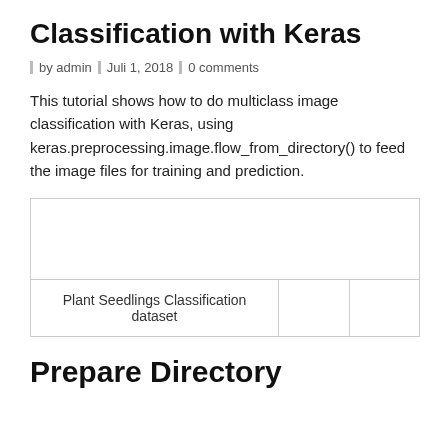Classification with Keras
by admin  Juli 1, 2018  0 comments
This tutorial shows how to do multiclass image classification with Keras, using keras.preprocessing.image.flow_from_directory() to feed the image files for training and prediction.
|  |  |  |
| Plant Seedlings Classification dataset |  |  |
Prepare Directory